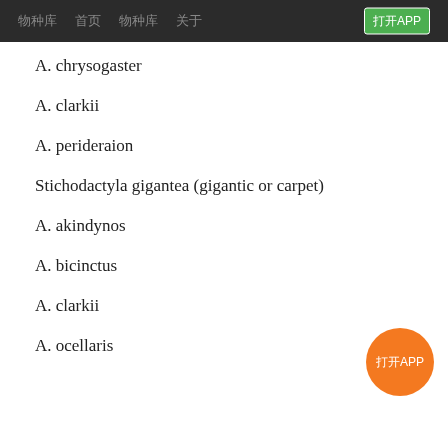导航 首页 物种库 关于 打开APP
A. chrysogaster
A. clarkii
A. perideraion
Stichodactyla gigantea (gigantic or carpet)
A. akindynos
A. bicinctus
A. clarkii
A. ocellaris